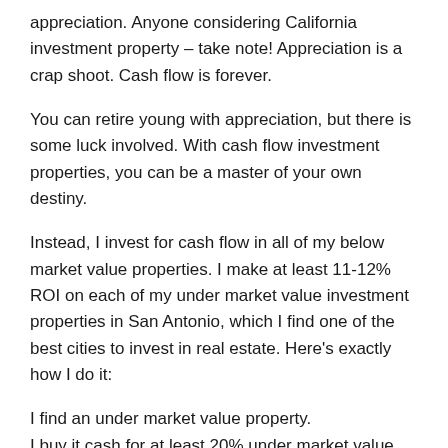appreciation. Anyone considering California investment property – take note! Appreciation is a crap shoot. Cash flow is forever.
You can retire young with appreciation, but there is some luck involved. With cash flow investment properties, you can be a master of your own destiny.
Instead, I invest for cash flow in all of my below market value properties. I make at least 11-12% ROI on each of my under market value investment properties in San Antonio, which I find one of the best cities to invest in real estate. Here's exactly how I do it:
I find an under market value property.
I buy it cash for at least 20% under market value (or I move on)
I do $25,000 or so in rehab.